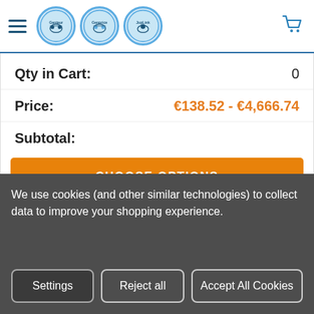Gentaur Genprice JopLink — navigation header with logos and cart icon
Qty in Cart: 0
Price: €138.52 - €4,666.74
Subtotal:
CHOOSE OPTIONS
Mouse Alpha-2-macroglobulin (A2M) ELISA kit | CSB-EL001004MO
Cusabio Elisa
We use cookies (and other similar technologies) to collect data to improve your shopping experience.
Settings
Reject all
Accept All Cookies